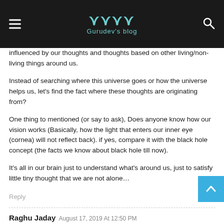Gurudev's blog
influenced by our thoughts and thoughts based on other living/non-living things around us.
Instead of searching where this universe goes or how the universe helps us, let's find the fact where these thoughts are originating from?
One thing to mentioned (or say to ask), Does anyone know how our vision works (Basically, how the light that enters our inner eye (cornea) will not reflect back). if yes, compare it with the black hole concept (the facts we know about black hole till now).
It's all in our brain just to understand what's around us, just to satisfy little tiny thought that we are not alone…
Reply
Raghu Jaday August 17, 2019 At 12:50 PM